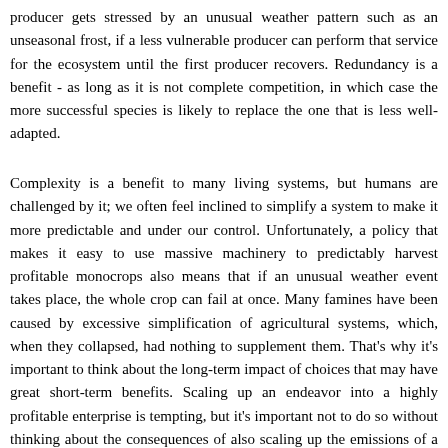producer gets stressed by an unusual weather pattern such as an unseasonal frost, if a less vulnerable producer can perform that service for the ecosystem until the first producer recovers. Redundancy is a benefit - as long as it is not complete competition, in which case the more successful species is likely to replace the one that is less well-adapted.
Complexity is a benefit to many living systems, but humans are challenged by it; we often feel inclined to simplify a system to make it more predictable and under our control. Unfortunately, a policy that makes it easy to use massive machinery to predictably harvest profitable monocrops also means that if an unusual weather event takes place, the whole crop can fail at once. Many famines have been caused by excessive simplification of agricultural systems, which, when they collapsed, had nothing to supplement them. That's why it's important to think about the long-term impact of choices that may have great short-term benefits. Scaling up an endeavor into a highly profitable enterprise is tempting, but it's important not to do so without thinking about the consequences of also scaling up the emissions of a certain kind of waste beyond the ability of the environment to dilute or